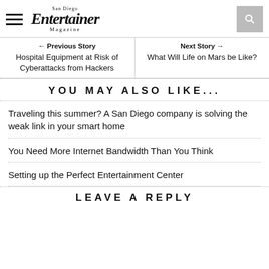San Diego Entertainer Magazine
← Previous Story
Hospital Equipment at Risk of Cyberattacks from Hackers
Next Story →
What Will Life on Mars be Like?
YOU MAY ALSO LIKE...
Traveling this summer? A San Diego company is solving the weak link in your smart home
You Need More Internet Bandwidth Than You Think
Setting up the Perfect Entertainment Center
LEAVE A REPLY